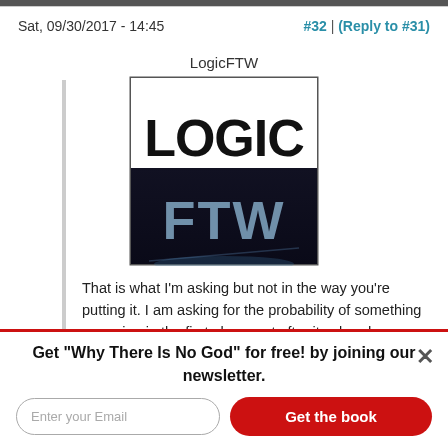Sat, 09/30/2017 - 14:45   #32 | (Reply to #31)
LogicFTW
[Figure (logo): LogicFTW avatar image showing 'LOGIC' in large black text on white background and 'FTW' in metallic letters on dark background]
That is what I'm asking but not in the way you're putting it. I am asking for the probability of something occurring in the first place, not after its already occurred. That uncertainty needs to be based on what we
Get "Why There Is No God" for free! by joining our newsletter.
Enter your Email
Get the book